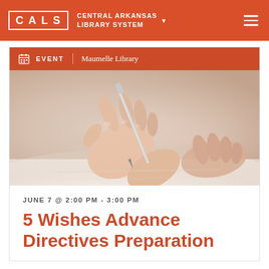CALS CENTRAL ARKANSAS LIBRARY SYSTEM
EVENT  Maumelle Library
[Figure (photo): Close-up photo of two hands on a white surface, one hand holding a pen and writing on paper, warm skin tones on a light background]
JUNE 7 @ 2:00 PM - 3:00 PM
5 Wishes Advance Directives Preparation